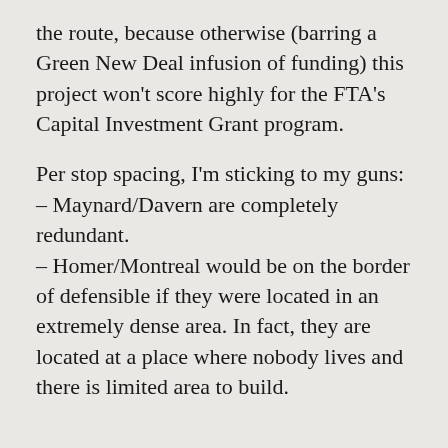the route, because otherwise (barring a Green New Deal infusion of funding) this project won't score highly for the FTA's Capital Investment Grant program.
Per stop spacing, I'm sticking to my guns:
– Maynard/Davern are completely redundant.
– Homer/Montreal would be on the border of defensible if they were located in an extremely dense area. In fact, they are located at a place where nobody lives and there is limited area to build.